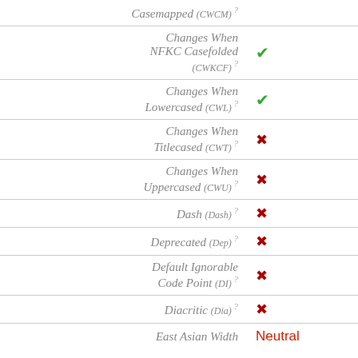| Property | Value |
| --- | --- |
| Casemapped (CWCM) ? | ? |
| Changes When NFKC Casefolded (CWKCF) ? | ✓ |
| Changes When Lowercased (CWL) ? | ✓ |
| Changes When Titlecased (CWT) ? | ✗ |
| Changes When Uppercased (CWU) ? | ✗ |
| Dash (Dash) ? | ✗ |
| Deprecated (Dep) ? | ✗ |
| Default Ignorable Code Point (DI) ? | ✗ |
| Diacritic (Dia) ? | ✗ |
| East Asian Width | Neutral |